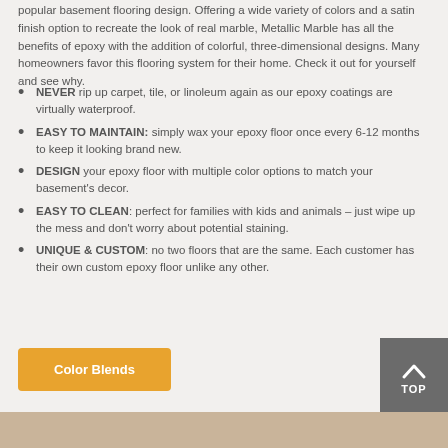popular basement flooring design. Offering a wide variety of colors and a satin finish option to recreate the look of real marble, Metallic Marble has all the benefits of epoxy with the addition of colorful, three-dimensional designs. Many homeowners favor this flooring system for their home. Check it out for yourself and see why.
NEVER rip up carpet, tile, or linoleum again as our epoxy coatings are virtually waterproof.
EASY TO MAINTAIN: simply wax your epoxy floor once every 6-12 months to keep it looking brand new.
DESIGN your epoxy floor with multiple color options to match your basement's decor.
EASY TO CLEAN: perfect for families with kids and animals – just wipe up the mess and don't worry about potential staining.
UNIQUE & CUSTOM: no two floors that are the same. Each customer has their own custom epoxy floor unlike any other.
Color Blends